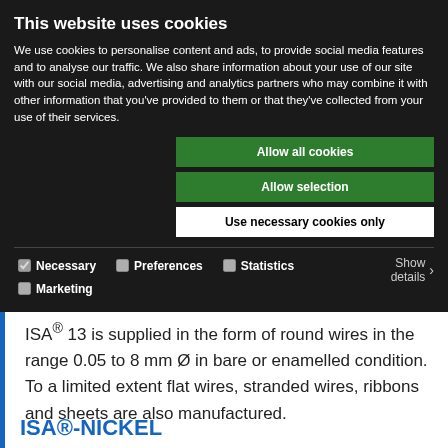This website uses cookies
We use cookies to personalise content and ads, to provide social media features and to analyse our traffic. We also share information about your use of our site with our social media, advertising and analytics partners who may combine it with other information that you've provided to them or that they've collected from your use of their services.
Allow all cookies
Allow selection
Use necessary cookies only
Necessary  Preferences  Statistics  Marketing  Show details
ISA® 13 is supplied in the form of round wires in the range 0.05 to 8 mm Ø in bare or enamelled condition. To a limited extent flat wires, stranded wires, ribbons and sheets are also manufactured.
ISA®-NICKEL